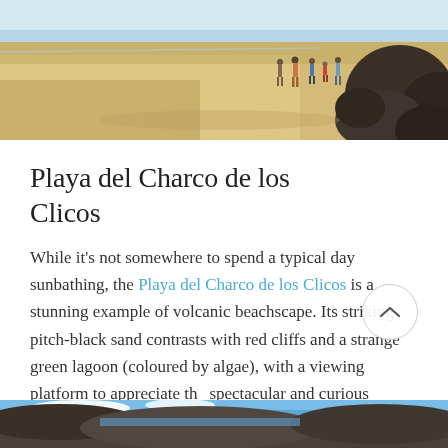[Figure (photo): Beach scene with people standing on sandy shore near dark volcanic rocks, sunny day]
Playa del Charco de los Clicos
While it's not somewhere to spend a typical day sunbathing, the Playa del Charco de los Clicos is a stunning example of volcanic beachscape. Its striking pitch-black sand contrasts with red cliffs and a strange green lagoon (coloured by algae), with a viewing platform to appreciate the spectacular and curious natural phenomenon.
[Figure (photo): Bottom portion of another beach or coastal scene photo, partially visible]